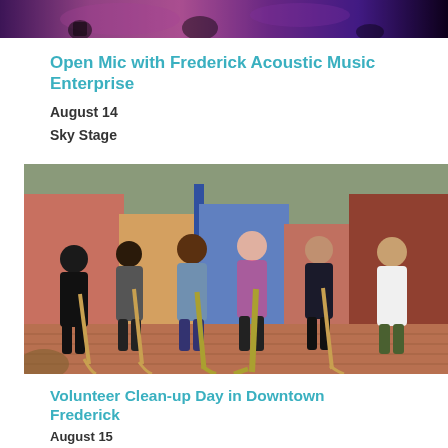[Figure (photo): Top portion of a photo showing people at what appears to be a music event or stage performance with purple/pink lighting]
Open Mic with Frederick Acoustic Music Enterprise
August 14
Sky Stage
[Figure (photo): Six young people standing together on a brick sidewalk holding brooms and cleaning equipment in front of colorful row houses in downtown Frederick]
Volunteer Clean-up Day in Downtown Frederick
August 15